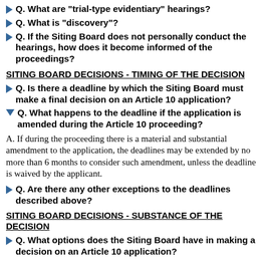Q. What are "trial-type evidentiary" hearings?
Q. What is "discovery"?
Q. If the Siting Board does not personally conduct the hearings, how does it become informed of the proceedings?
SITING BOARD DECISIONS - TIMING OF THE DECISION
Q. Is there a deadline by which the Siting Board must make a final decision on an Article 10 application?
Q. What happens to the deadline if the application is amended during the Article 10 proceeding?
A. If during the proceeding there is a material and substantial amendment to the application, the deadlines may be extended by no more than 6 months to consider such amendment, unless the deadline is waived by the applicant.
Q. Are there any other exceptions to the deadlines described above?
SITING BOARD DECISIONS - SUBSTANCE OF THE DECISION
Q. What options does the Siting Board have in making a decision on an Article 10 application?